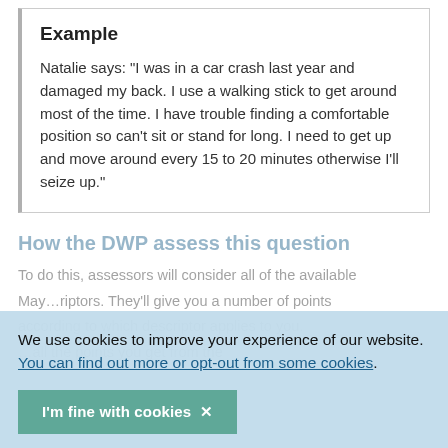Example

Natalie says: "I was in a car crash last year and damaged my back. I use a walking stick to get around most of the time. I have trouble finding a comfortable position so can't sit or stand for long. I need to get up and move around every 15 to 20 minutes otherwise I'll seize up."
How the DWP assess this question
We use cookies to improve your experience of our website. You can find out more or opt-out from some cookies.